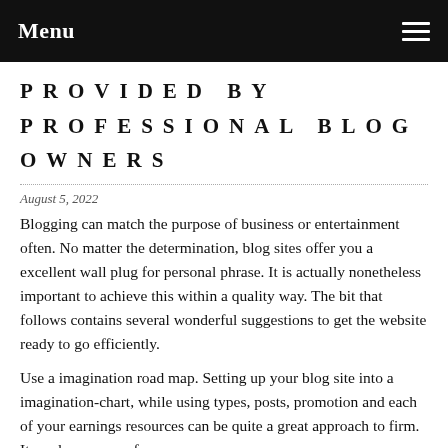Menu
PROVIDED BY PROFESSIONAL BLOG OWNERS
August 5, 2022
Blogging can match the purpose of business or entertainment often. No matter the determination, blog sites offer you a excellent wall plug for personal phrase. It is actually nonetheless important to achieve this within a quality way. The bit that follows contains several wonderful suggestions to get the website ready to go efficiently.
Use a imagination road map. Setting up your blog site into a imagination-chart, while using types, posts, promotion and each of your earnings resources can be quite a great approach to firm. It produces a way for